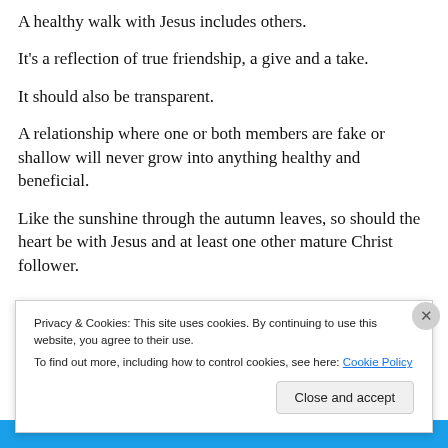A healthy walk with Jesus includes others.
It's a reflection of true friendship, a give and a take.
It should also be transparent.
A relationship where one or both members are fake or shallow will never grow into anything healthy and beneficial.
Like the sunshine through the autumn leaves, so should the heart be with Jesus and at least one other mature Christ follower.
Privacy & Cookies: This site uses cookies. By continuing to use this website, you agree to their use.
To find out more, including how to control cookies, see here: Cookie Policy
Close and accept